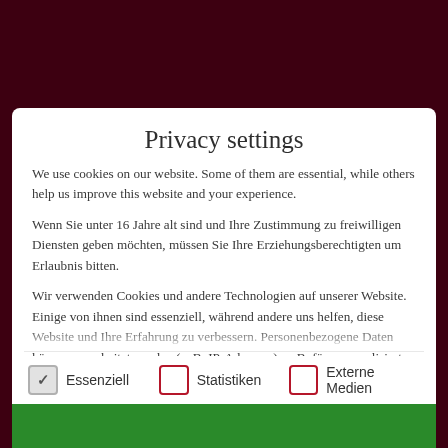Privacy settings
We use cookies on our website. Some of them are essential, while others help us improve this website and your experience.
Wenn Sie unter 16 Jahre alt sind und Ihre Zustimmung zu freiwilligen Diensten geben möchten, müssen Sie Ihre Erziehungsberechtigten um Erlaubnis bitten.
Wir verwenden Cookies und andere Technologien auf unserer Website. Einige von ihnen sind essenziell, während andere uns helfen, diese Website und Ihre Erfahrung zu verbessern. Personenbezogene Daten können verarbeitet werden (z. B. IP-Adressen), z. B. für personalisierte Anzeigen und Inhalte oder Anzeigen- und Inhaltsmessung. Weitere Informationen über die
Essenziell
Statistiken
Externe Medien